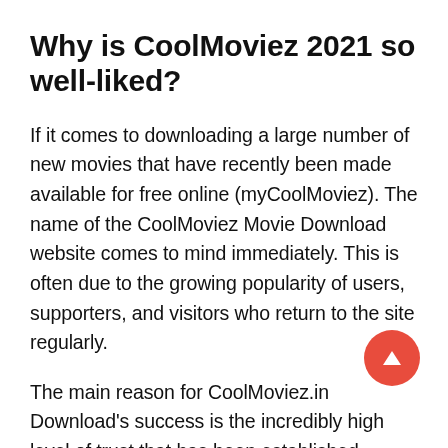Why is CoolMoviez 2021 so well-liked?
If it comes to downloading a large number of new movies that have recently been made available for free online (myCoolMoviez). The name of the CoolMoviez Movie Download website comes to mind immediately. This is often due to the growing popularity of users, supporters, and visitors who return to the site regularly.
The main reason for CoolMoviez.in Download's success is the incredibly high level of trust that has been established between visitors and users who visit CoolMovies for the first time. The is founded on the fact that it allows customers to download hundreds of movies and TV series